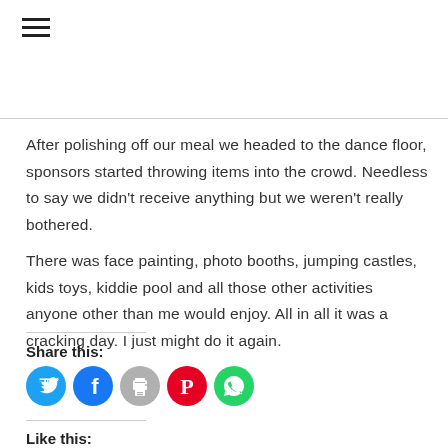☰
After polishing off our meal we headed to the dance floor, sponsors started throwing items into the crowd. Needless to say we didn't receive anything but we weren't really bothered.
There was face painting, photo booths, jumping castles, kids toys, kiddie pool and all those other activities anyone other than me would enjoy. All in all it was a cracking day. I just might do it again.
Share this:
[Figure (other): Social sharing icons: Twitter (blue), Facebook (blue), Print (grey), Pinterest (red), WhatsApp (green)]
Like this: